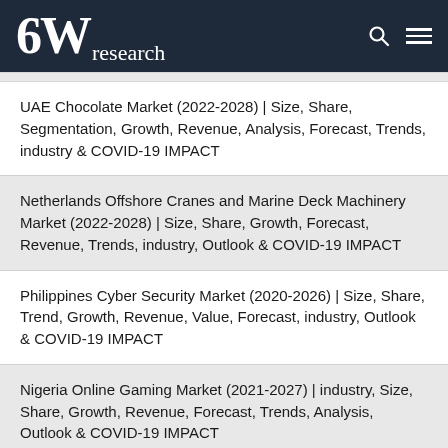6W research
UAE Chocolate Market (2022-2028) | Size, Share, Segmentation, Growth, Revenue, Analysis, Forecast, Trends, industry & COVID-19 IMPACT
Netherlands Offshore Cranes and Marine Deck Machinery Market (2022-2028) | Size, Share, Growth, Forecast, Revenue, Trends, industry, Outlook & COVID-19 IMPACT
Philippines Cyber Security Market (2020-2026) | Size, Share, Trend, Growth, Revenue, Value, Forecast, industry, Outlook & COVID-19 IMPACT
Nigeria Online Gaming Market (2021-2027) | industry, Size, Share, Growth, Revenue, Forecast, Trends, Analysis, Outlook & COVID-19 IMPACT
India Air Cooler Market (2021-2027) | Outlook, Size, Share, Revenue, Analysis, Forecast, Growth, Trends, industry & COVID-19 IMPACT